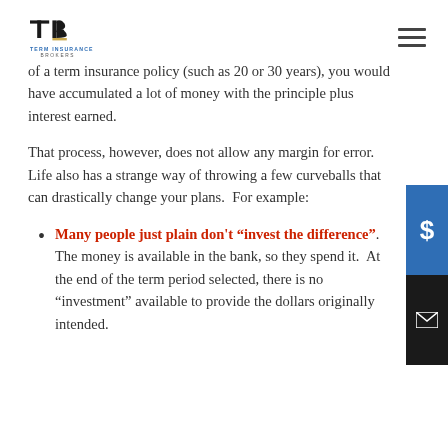Term Insurance Brokers
of a term insurance policy (such as 20 or 30 years), you would have accumulated a lot of money with the principle plus interest earned.
That process, however, does not allow any margin for error.  Life also has a strange way of throwing a few curveballs that can drastically change your plans.  For example:
Many people just plain don't “invest the difference”.  The money is available in the bank, so they spend it.  At the end of the term period selected, there is no “investment” available to provide the dollars originally intended.